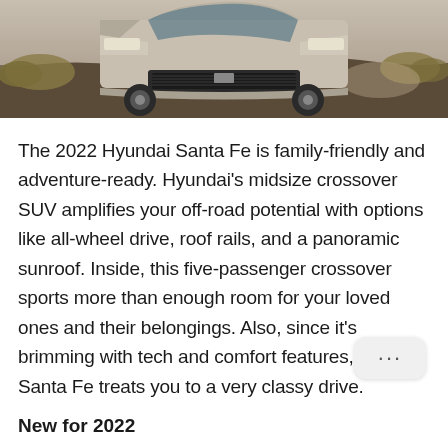[Figure (photo): Front view of a 2022 Hyundai Santa Fe SUV driving on a dirt/rocky terrain with brush and dust visible in the background.]
The 2022 Hyundai Santa Fe is family-friendly and adventure-ready. Hyundai's midsize crossover SUV amplifies your off-road potential with options like all-wheel drive, roof rails, and a panoramic sunroof. Inside, this five-passenger crossover sports more than enough room for your loved ones and their belongings. Also, since it's brimming with tech and comfort features, the Santa Fe treats you to a very classy drive.
New for 2022